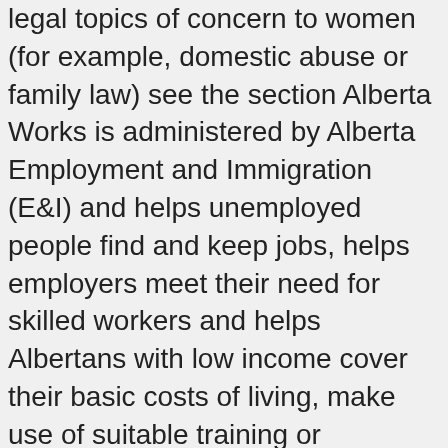legal topics of concern to women (for example, domestic abuse or family law) see the section Alberta Works is administered by Alberta Employment and Immigration (E&I) and helps unemployed people find and keep jobs, helps employers meet their need for skilled workers and helps Albertans with low income cover their basic costs of living, make use of suitable training or rehabilitation. If you do not know how to reach your worker, contact your local Alberta Supports or Alberta Works Centre. Single Parent - 1 Child. See the list of services available. The process typically takes 2 weeks. If you are unsure if your Alberta government subsidy or fixed monthly income qualifies you to receive a cash loan from us, please call us at 1-877-213-2088. Pick up a paper application from your nearest Alberta Supports or Alberta Works Centre, complete it, and return it to your nearest centre. The Alberta Adult Health Benefit plan may cover your remaining costs. Fax: 780-422-9681 Financial Eligibility Here you will find selected resources focused on women's rights and equality issues as well as women's participation in the law and public policy development. Income and Assets. Below is a